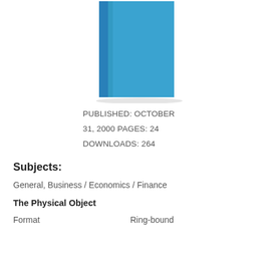[Figure (illustration): Blue book cover image shown as a rectangular book with a spine on the left side, solid sky-blue color]
PUBLISHED: OCTOBER 31, 2000 PAGES: 24 DOWNLOADS: 264
Subjects:
General, Business / Economics / Finance
The Physical Object
Format    Ring-bound